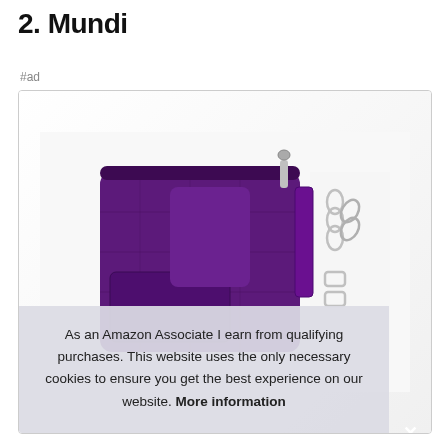2. Mundi
#ad
[Figure (photo): Purple leather Mundi crossbody bag with zipper top, multiple compartments, and silver hardware/chain straps, shown from the front against a white background.]
As an Amazon Associate I earn from qualifying purchases. This website uses the only necessary cookies to ensure you get the best experience on our website. More information